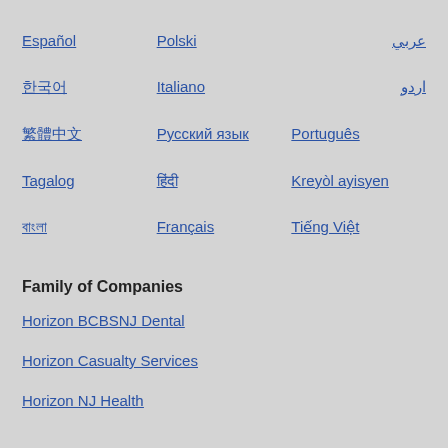Español
Polski
عربي
한국어
Italiano
اردو
繁體中文
Русский язык
Português
Tagalog
हिंदी
Kreyòl ayisyen
বাংলা
Français
Tiếng Việt
Family of Companies
Horizon BCBSNJ Dental
Horizon Casualty Services
Horizon NJ Health